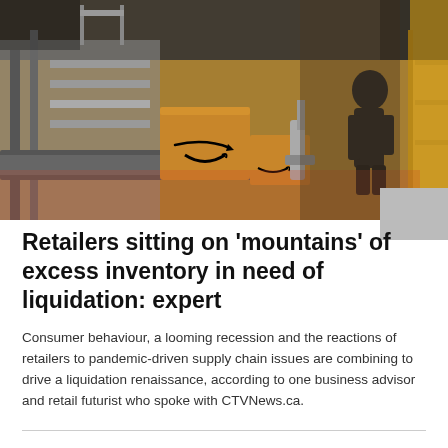[Figure (photo): Warehouse fulfillment center with Amazon boxes on conveyor belts and a worker in the background among industrial equipment and yellow shelving]
[Figure (photo): Small thumbnail photo partially visible at the right side]
Retailers sitting on 'mountains' of excess inventory in need of liquidation: expert
Consumer behaviour, a looming recession and the reactions of retailers to pandemic-driven supply chain issues are combining to drive a liquidation renaissance, according to one business advisor and retail futurist who spoke with CTVNews.ca.
Ontario doctor alleged to have killed 4 people